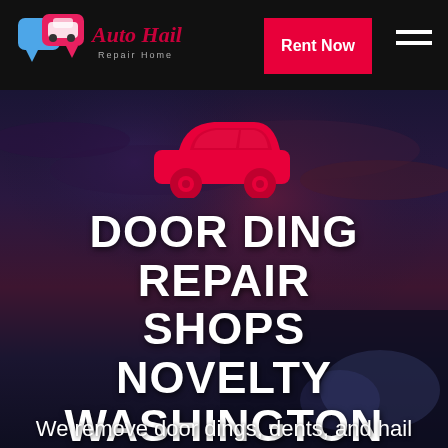[Figure (logo): Auto Hail Repair Home logo with speech bubble car icons and cursive text]
Rent Now
[Figure (illustration): Red car icon silhouette centered on dark blue-red cloudy sky hero background with car headlight visible]
DOOR DING REPAIR SHOPS NOVELTY WASHINGTON
We remove door dings, dents, and hail